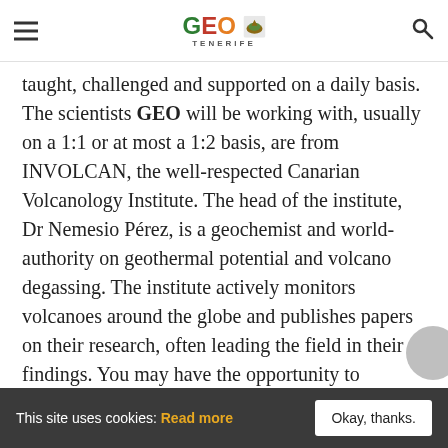GEO TENERIFE
taught, challenged and supported on a daily basis. The scientists GEO will be working with, usually on a 1:1 or at most a 1:2 basis, are from INVOLCAN, the well-respected Canarian Volcanology Institute. The head of the institute, Dr Nemesio Pérez, is a geochemist and world-authority on geothermal potential and volcano degassing. The institute actively monitors volcanoes around the globe and publishes papers on their research, often leading the field in their findings. You may have the opportunity to contribute and be named on one of them.
Throughout your internship, you will receive feedback and guidance. This is an opportunity
This site uses cookies: Read more   Okay, thanks.